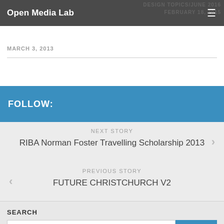Open Media Lab
MARCH 3, 2013
FOLLOW:
NEXT STORY
RIBA Norman Foster Travelling Scholarship 2013
PREVIOUS STORY
FUTURE CHRISTCHURCH V2
SEARCH
Search ...